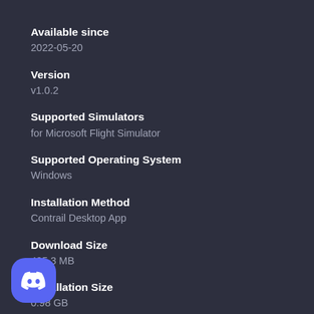Available since
2022-05-20
Version
v1.0.2
Supported Simulators
for Microsoft Flight Simulator
Supported Operating System
Windows
Installation Method
Contrail Desktop App
Download Size
495.3 MB
Installation Size
0.98 GB
[Figure (logo): Discord logo button in bottom-left corner, blue rounded square with white Discord controller icon]